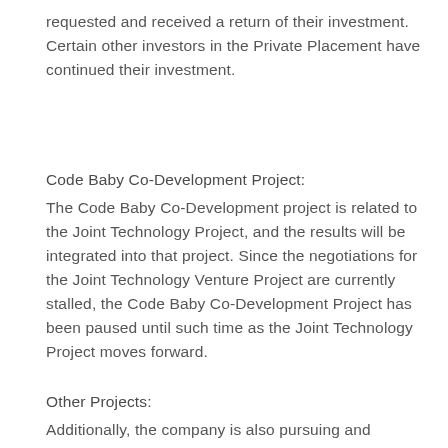requested and received a return of their investment. Certain other investors in the Private Placement have continued their investment.
Code Baby Co-Development Project:
The Code Baby Co-Development project is related to the Joint Technology Project, and the results will be integrated into that project. Since the negotiations for the Joint Technology Venture Project are currently stalled, the Code Baby Co-Development Project has been paused until such time as the Joint Technology Project moves forward.
Other Projects:
Additionally, the company is also pursuing and